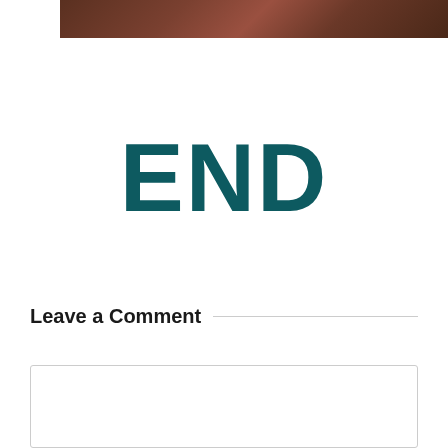[Figure (photo): Cropped photo strip at top showing dark brownish-reddish texture, appears to be the bottom edge of a photograph]
END
Leave a Comment
Your Comment *